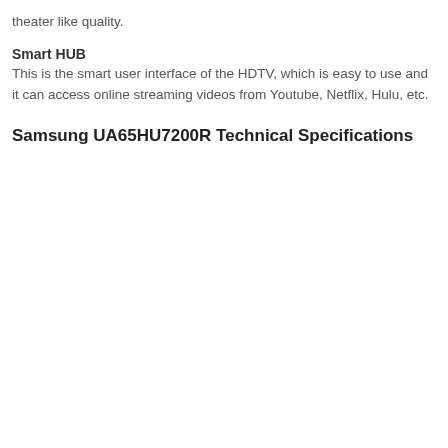theater like quality.
Smart HUB
This is the smart user interface of the HDTV, which is easy to use and it can access online streaming videos from Youtube, Netflix, Hulu, etc.
Samsung UA65HU7200R Technical Specifications